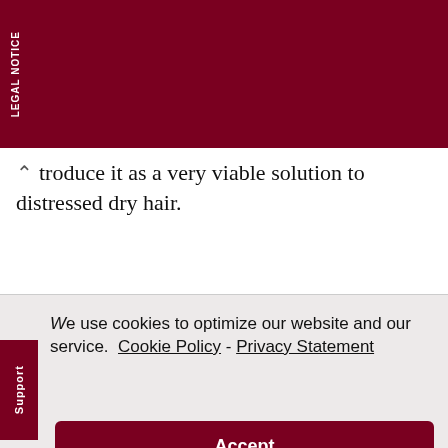[Figure (other): Legal notice advertisement banner for Zignature Settlement with yellow title text and white body text on dark red background, with a 'LEGAL NOTICE' sidebar label rotated vertically.]
troduce it as a very viable solution to distressed dry hair.
We use cookies to optimize our website and our service.  Cookie Policy - Privacy Statement
Accept
The caramel treatment is a product in the E’tae product line which is an all-natural line that utilizes honey, bananas to olive oil, that not only will soften your hair but it will effectively hydrate your strands